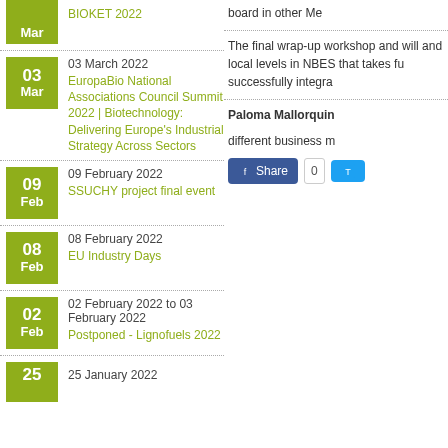15 Mar — BIOKET 2022
03 March 2022 — EuropaBio National Associations Council Summit 2022 | Biotechnology: Delivering Europe's Industrial Strategy Across Sectors
09 February 2022 — SSUCHY project final event
08 February 2022 — EU Industry Days
02 February 2022 to 03 February 2022 — Postponed - Lignofuels 2022
25 January 2022
board in other Me
The final wrap-up workshop and will and local levels in NBES that takes fu successfully integra
Paloma Mallorquin different business m